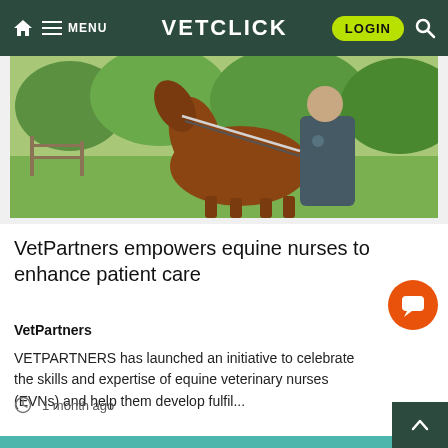VETCLICK — MENU | LOGIN | Search
[Figure (photo): A person in a dark polo shirt holding the lead rope of a brown horse outdoors in a green, tree-lined paddock setting.]
VetPartners empowers equine nurses to enhance patient care
VetPartners
VETPARTNERS has launched an initiative to celebrate the skills and expertise of equine veterinary nurses (EVNs) and help them develop fulfil...
1 month ago